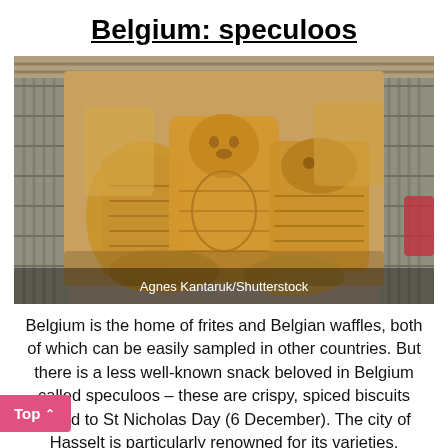Belgium: speculoos
[Figure (photo): A basket of Belgian speculoos biscuits shaped like figures with embossed decorative patterns, piled together. Photo credit: Agnes Kantaruk/Shutterstock]
Agnes Kantaruk/Shutterstock
Belgium is the home of frites and Belgian waffles, both of which can be easily sampled in other countries. But there is a less well-known snack beloved in Belgium called speculoos – these are crispy, spiced biscuits linked to St Nicholas Day (6 December). The city of Hasselt is particularly renowned for its varieties.